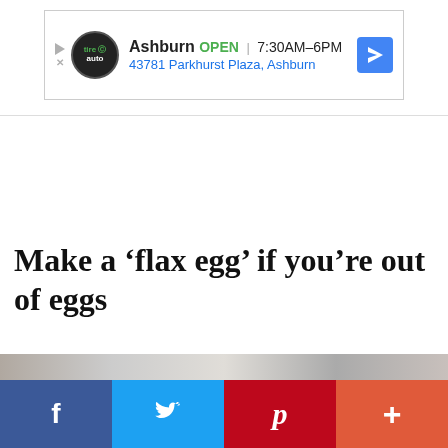[Figure (screenshot): Advertisement banner for Tire & Auto in Ashburn showing OPEN 7:30AM-6PM and address 43781 Parkhurst Plaza, Ashburn with a blue navigation arrow icon.]
Make a ‘flax egg’ if you’re out of eggs
[Figure (photo): Partial photo strip at the bottom showing a blurred food or ingredient image.]
[Figure (infographic): Social sharing bar with Facebook (f), Twitter (bird), Pinterest (P), and More (+) buttons in blue, light blue, red, and orange-red colors.]